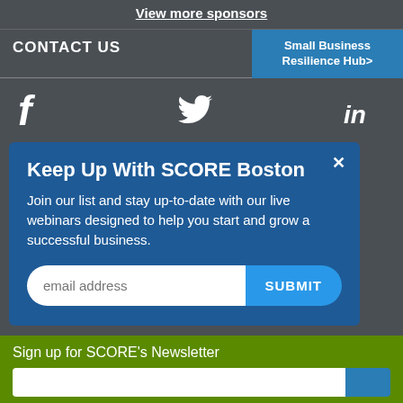View more sponsors
CONTACT US
Small Business Resilience Hub>
[Figure (logo): Social media icons: Facebook (f), Twitter bird, LinkedIn (in)]
Keep Up With SCORE Boston
Join our list and stay up-to-date with our live webinars designed to help you start and grow a successful business.
email address
SUBMIT
TECHNICAL SUPPORT: help@score.org
Need more information? Visit our Contact Us Page
Sign up for SCORE's Newsletter